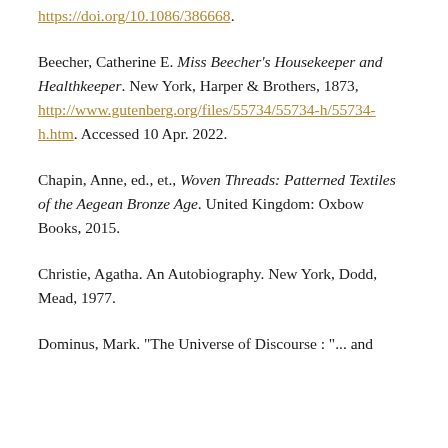https://doi.org/10.1086/386668.
Beecher, Catherine E. Miss Beecher's Housekeeper and Healthkeeper. New York, Harper & Brothers, 1873, http://www.gutenberg.org/files/55734/55734-h/55734-h.htm. Accessed 10 Apr. 2022.
Chapin, Anne, ed., et., Woven Threads: Patterned Textiles of the Aegean Bronze Age. United Kingdom: Oxbow Books, 2015.
Christie, Agatha. An Autobiography. New York, Dodd, Mead, 1977.
Dominus, Mark. "The Universe of Discourse : "... and